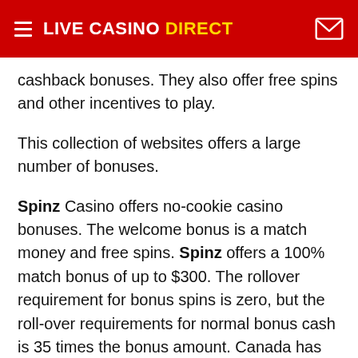LIVE CASINO DIRECT
cashback bonuses. They also offer free spins and other incentives to play.
This collection of websites offers a large number of bonuses.
Spinz Casino offers no-cookie casino bonuses. The welcome bonus is a match money and free spins. Spinz offers a 100% match bonus of up to $300. The rollover requirement for bonus spins is zero, but the roll-over requirements for normal bonus cash is 35 times the bonus amount. Canada has 42 different software providers to choose from for online casino games.